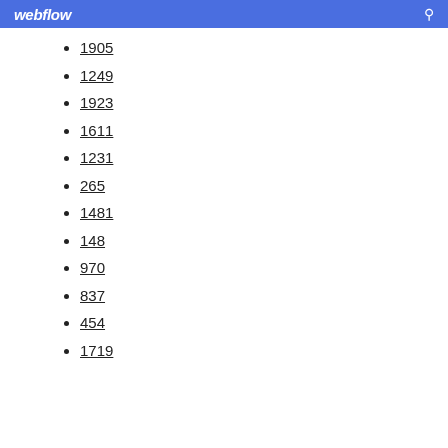webflow
1905
1249
1923
1611
1231
265
1481
148
970
837
454
1719